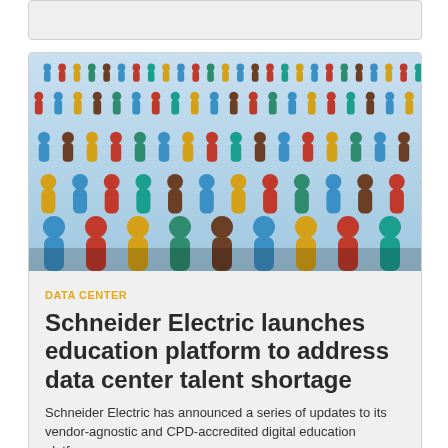[Figure (other): Gray card/placeholder box at top of page]
[Figure (photo): Aerial view of colorful 3D person figures in blue, red, gold/yellow, green, and brown arranged in a crowd, representing diverse people or workforce]
DATA CENTER
Schneider Electric launches education platform to address data center talent shortage
Schneider Electric has announced a series of updates to its vendor-agnostic and CPD-accredited digital education platform.